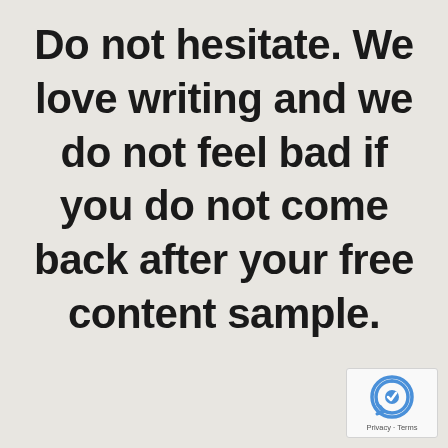Do not hesitate. We love writing and we do not feel bad if you do not come back after your free content sample.
[Figure (logo): reCAPTCHA logo with Privacy and Terms text]